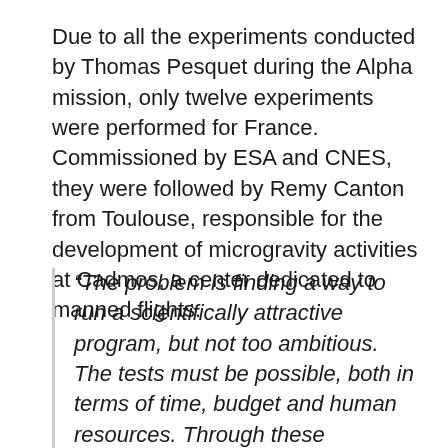Due to all the experiments conducted by Thomas Pesquet during the Alpha mission, only twelve experiments were performed for France. Commissioned by ESA and CNES, they were followed by Remy Canton from Toulouse, responsible for the development of microgravity activities at Cadmos, a center dedicated to manned flights.
“The problem is finding a way to run a scientifically attractive program, but not too ambitious. The tests must be possible, both in terms of time, budget and human resources. Through these